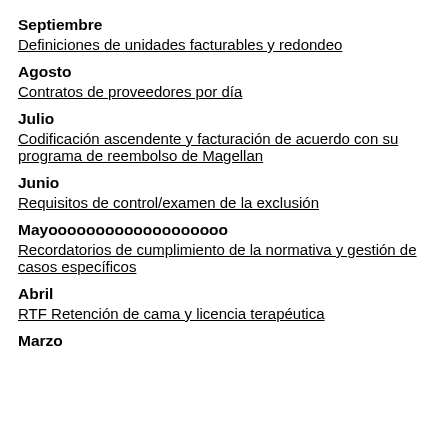Septiembre
Definiciones de unidades facturables y redondeo
Agosto
Contratos de proveedores por día
Julio
Codificación ascendente y facturación de acuerdo con su programa de reembolso de Magellan
Junio
Requisitos de control/examen de la exclusión
Mayooooooooooooooooooo
Recordatorios de cumplimiento de la normativa y gestión de casos específicos
Abril
RTF Retención de cama y licencia terapéutica
Marzo